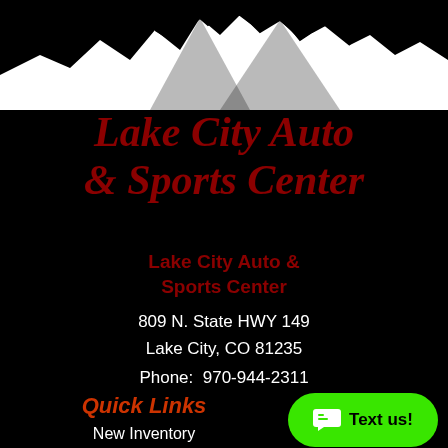[Figure (illustration): White mountain silhouette illustration against black background at the top of the page]
Lake City Auto & Sports Center
Lake City Auto & Sports Center
809 N. State HWY 149
Lake City, CO 81235
Phone: 970-944-2311
Quick Links
New Inventory
Used Inventory
[Figure (other): Green rounded button with speech bubble icon and text 'Text us!']